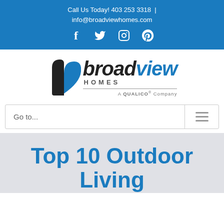Call Us Today! 403 253 3318 | info@broadviewhomes.com
[Figure (logo): Broadview Homes logo with leaf/house icon, brand name in italic, HOMES subtitle, A QUALICO Company tagline]
Go to...
Top 10 Outdoor Living Features for Your